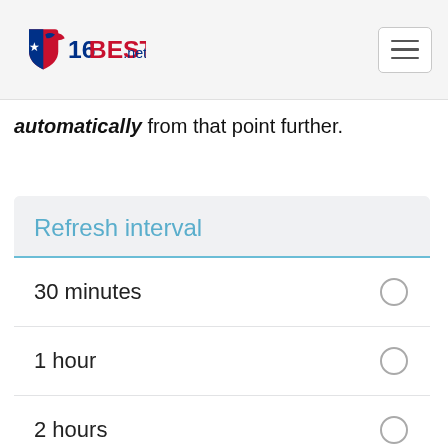16BEST.net
automatically from that point further.
Refresh interval
30 minutes
1 hour
2 hours
4 hours